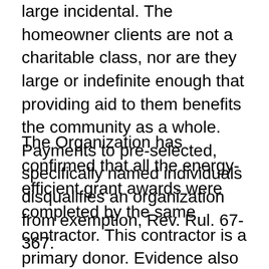large incidental. The homeowner clients are not a charitable class, nor are they large or indefinite enough that providing aid to them benefits the community as a whole. Payments to pre-selected, specifically named individuals disqualifies an organization from exemption, Rev. Rul. 67-367.
The Organization has confirmed that all the energy-efficient grant awards were completed by the same contractor. This contractor is a primary donor. Evidence also suggests that additional donors are Involved In a client relationship with this same contractor and may be contributing the cost of their home improvements to the Organization, that then pays the same to the contractor as a grant, less an administrative fee. An organization that received substantially all of its funding from sellers or other businesses that stood to benefit from the transactions